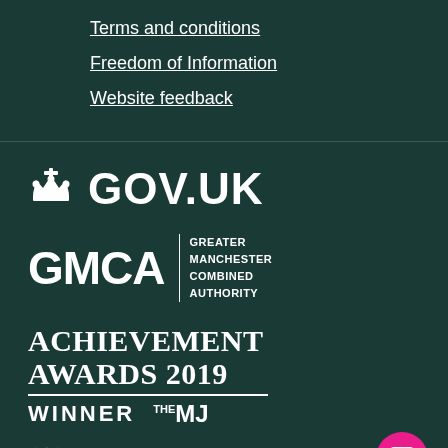Terms and conditions
Freedom of Information
Website feedback
[Figure (logo): GOV.UK logo with crown icon]
[Figure (logo): GMCA Greater Manchester Combined Authority logo]
[Figure (logo): Achievement Awards 2019 Winner - The MJ logo]
[Figure (logo): Inspiring Digital Enterprise Award PIONEER logo with laurel wreaths]